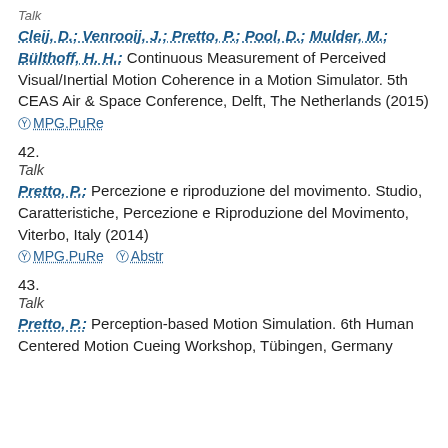Cleij, D.; Venrooij, J.; Pretto, P.; Pool, D.; Mulder, M.; Bülthoff, H. H.: Continuous Measurement of Perceived Visual/Inertial Motion Coherence in a Motion Simulator. 5th CEAS Air & Space Conference, Delft, The Netherlands (2015)
⊙ MPG.PuRe
42.
Talk
Pretto, P.: Percezione e riproduzione del movimento. Studio, Caratteristiche, Percezione e Riproduzione del Movimento, Viterbo, Italy (2014)
⊙ MPG.PuRe  ⊙ Abstr
43.
Talk
Pretto, P.: Perception-based Motion Simulation. 6th Human Centered Motion Cueing Workshop, Tübingen, Germany